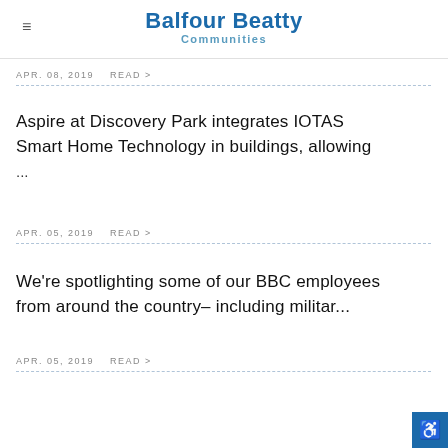Balfour Beatty Communities
APR. 08, 2019   READ >
Aspire at Discovery Park integrates IOTAS Smart Home Technology in buildings, allowing ...
APR. 05, 2019   READ >
We're spotlighting some of our BBC employees from around the country– including militar...
APR. 05, 2019   READ >